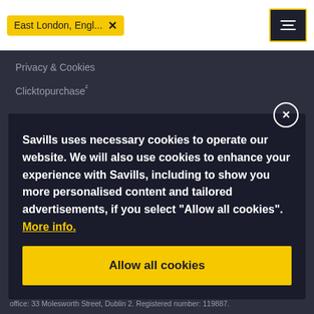[Figure (screenshot): Search bar with yellow location tag 'East London, Engl...' with X close button, and a yellow-bordered filter/settings icon button on the right]
Privacy & Cookies
Clicktopurchase²
Contact Us
Savills uses necessary cookies to operate our website. We will also use cookies to enhance your experience with Savills, including to show you more personalised content and tailored advertisements, if you select “Allow all cookies”. More info.
Allow all cookies
ills Commercial Agency Limited is a subsidiary of Savills plc. Registered office: 33 Molesworth Street, Dublin 2. Registered number: 119887.